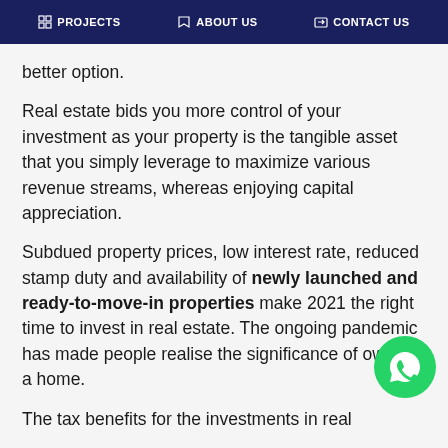PROJECTS | ABOUT US | CONTACT US
better option.
Real estate bids you more control of your investment as your property is the tangible asset that you simply leverage to maximize various revenue streams, whereas enjoying capital appreciation.
Subdued property prices, low interest rate, reduced stamp duty and availability of newly launched and ready-to-move-in properties make 2021 the right time to invest in real estate. The ongoing pandemic has made people realise the significance of owning a home.
The tax benefits for the investments in real